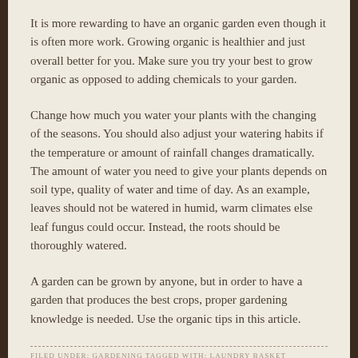It is more rewarding to have an organic garden even though it is often more work. Growing organic is healthier and just overall better for you. Make sure you try your best to grow organic as opposed to adding chemicals to your garden.
Change how much you water your plants with the changing of the seasons. You should also adjust your watering habits if the temperature or amount of rainfall changes dramatically. The amount of water you need to give your plants depends on soil type, quality of water and time of day. As an example, leaves should not be watered in humid, warm climates else leaf fungus could occur. Instead, the roots should be thoroughly watered.
A garden can be grown by anyone, but in order to have a garden that produces the best crops, proper gardening knowledge is needed. Use the organic tips in this article.
FILED UNDER: GARDENING TAGGED WITH: LAUNDRY BASKET